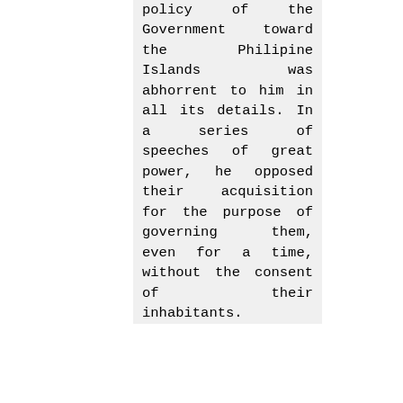policy of the Government toward the Philipine Islands was abhorrent to him in all its details. In a series of speeches of great power, he opposed their acquisition for the purpose of governing them, even for a time, without the consent of their inhabitants.